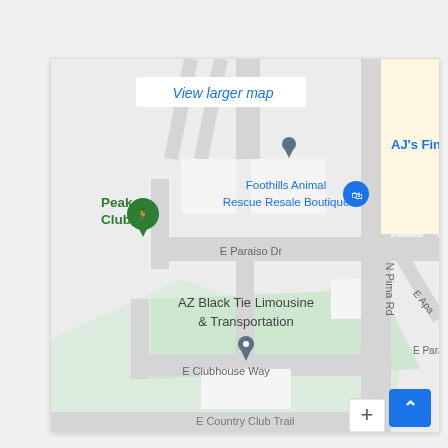[Figure (map): Google Maps screenshot showing area around AZ Black Tie Limousine & Transportation, with nearby landmarks including Foothills Animal Rescue Resale Boutique, Peak Club, AJ's Fine Foods, and streets E Paraiso Dr, E Clubhouse Way, N Pima Rd, E Country Club Trail. A 'View larger map' link and location pins are visible. A blue scroll-to-top button and a '+' zoom button appear at bottom right.]